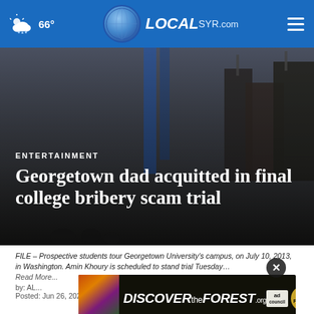66° LOCALsyr.com
[Figure (screenshot): Hero image of Georgetown University campus building, dark and atmospheric]
ENTERTAINMENT
Georgetown dad acquitted in final college bribery scam trial
FILE – Prospective students tour Georgetown University's campus, on July 10, 2013, in Washington. Amin Khoury is scheduled to stand trial Tuesday…
Read More...
by: AL...
Posted: Jun 26, 2023 / 06:31 PM EDT
[Figure (infographic): Advertisement banner: DISCOVERtheFOREST.org with ad council and US Forest Service badges]